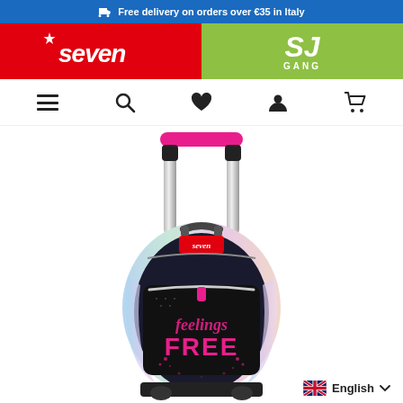🚚 Free delivery on orders over €35 in Italy
[Figure (logo): Seven brand logo in white on red background, left half; SJ GANG logo in white on green background, right half]
[Figure (screenshot): Navigation bar with hamburger menu, search, heart/wishlist, account, and cart icons]
[Figure (photo): Seven brand trolley backpack with pink handle, holographic iridescent sides, black front panel, pink glitter 'feelings FREE' text, on white background]
English